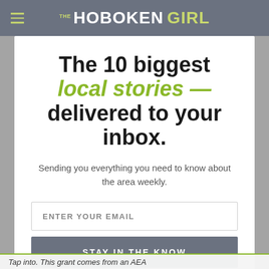THE HOBOKEN GIRL
The 10 biggest local stories — delivered to your inbox.
Sending you everything you need to know about the area weekly.
ENTER YOUR EMAIL
STAY IN THE KNOW
Tap into. This grant comes from an AEA